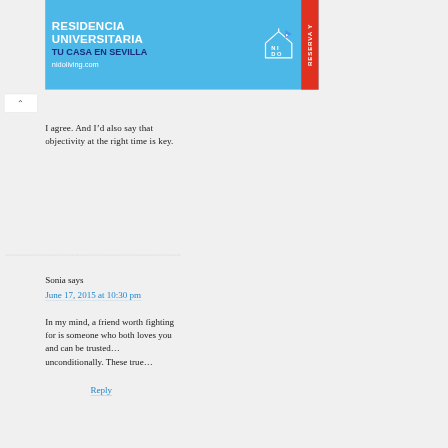[Figure (screenshot): Advertisement banner for Residencia Universitaria NIDO - TU CASA EN SEVILLA, nidoliving.com. Blue background with white bold text, red sidebar with RESERVA Y text.]
I agree. And I’d also say that objectivity at the right time is key.
Reply
Sonia says
June 17, 2015 at 10:30 pm
In my mind, a friend worth fighting for is someone who both loves you and can be trusted… unconditionally. These true…